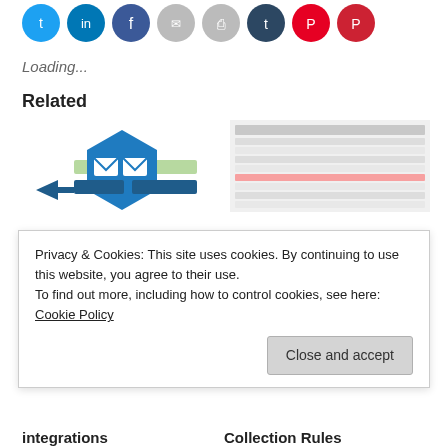[Figure (infographic): Row of social sharing icon circles: Twitter (blue), LinkedIn (blue), Facebook (dark blue), Email (gray), Print (gray), Tumblr (dark blue), Pinterest (red), Pocket (red)]
Loading...
Related
[Figure (infographic): Email routing diagram: blue hexagon with two envelope icons, green arrows pointing right and left, blue arrows pointing in]
[Figure (screenshot): Screenshot of a software interface showing a list/table view with rows and columns]
Privacy & Cookies: This site uses cookies. By continuing to use this website, you agree to their use.
To find out more, including how to control cookies, see here: Cookie Policy
Close and accept
integrations
Collection Rules